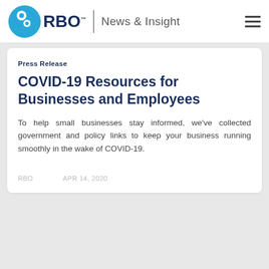RBO | News & Insight
Press Release
COVID-19 Resources for Businesses and Employees
To help small businesses stay informed, we've collected government and policy links to keep your business running smoothly in the wake of COVID-19.
RBO   APR 14, 2020